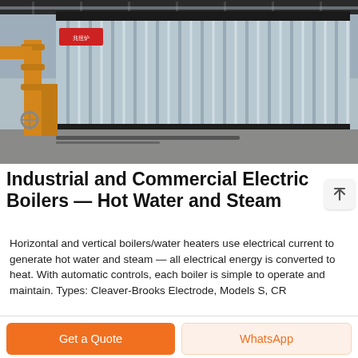[Figure (photo): Industrial boiler equipment — large corrugated metal cladding on horizontal boiler unit inside a factory/warehouse setting, with yellow pipes on the left side]
Industrial and Commercial Electric Boilers — Hot Water and Steam
Horizontal and vertical boilers/water heaters use electrical current to generate hot water and steam — all electrical energy is converted to heat. With automatic controls, each boiler is simple to operate and maintain. Types: Cleaver-Brooks Electrode, Models S, CR